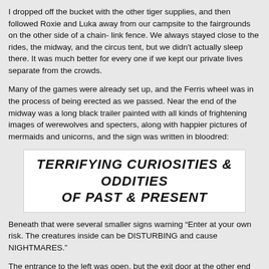I dropped off the bucket with the other tiger supplies, and then followed Roxie and Luka away from our campsite to the fairgrounds on the other side of a chain- link fence. We always stayed close to the rides, the midway, and the circus tent, but we didn't actually sleep there. It was much better for every one if we kept our private lives separate from the crowds.
Many of the games were already set up, and the Ferris wheel was in the process of being erected as we passed. Near the end of the midway was a long black trailer painted with all kinds of frightening images of werewolves and specters, along with happier pictures of mermaids and unicorns, and the sign was written in bloodred:
[Figure (other): A white sign with bold italic black text reading 'TERRIFYING CURIOSITIES & ODDITIES OF PAST & PRESENT']
Beneath that were several smaller signs warning "Enter at your own risk. The creatures inside can be DISTURBING and cause NIGHTMARES."
The entrance to the left was open, but the exit door at the other end was still shut. Wearing a pair of workman's gloves, Hutch was pulling at the door with all his might. His neon green tank showed